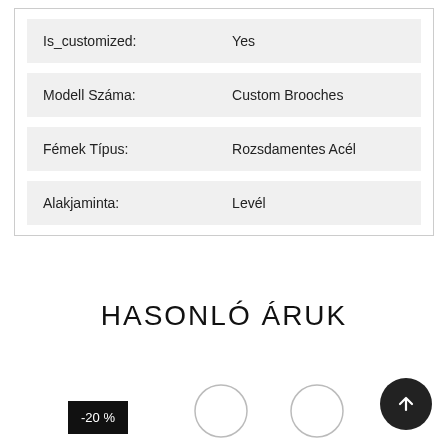| Property | Value |
| --- | --- |
| Is_customized: | Yes |
| Modell Száma: | Custom Brooches |
| Fémek Típus: | Rozsdamentes Acél |
| Alakjaminta: | Levél |
HASONLÓ ÁRUK